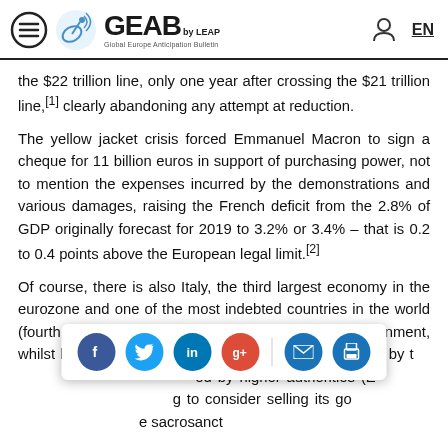GEAB by LEAP — Global Europe Anticipation Bulletin — EN
the $22 trillion line, only one year after crossing the $21 trillion line,[1] clearly abandoning any attempt at reduction.
The yellow jacket crisis forced Emmanuel Macron to sign a cheque for 11 billion euros in support of purchasing power, not to mention the expenses incurred by the demonstrations and various damages, raising the French deficit from the 2.8% of GDP originally forecast for 2019 to 3.2% or 3.4% – that is 0.2 to 0.4 points above the European legal limit.[2]
Of course, there is also Italy, the third largest economy in the eurozone and one of the most indebted countries in the world (fourth position, 132% of GDP), whose 'populist' government, whilst having a country to run, does not intend to abide by the austerity injunctions imposed by higher authorities (E... [social bar overlay] ...g to consider selling its go... [social bar overlay] ...e sacrosanct